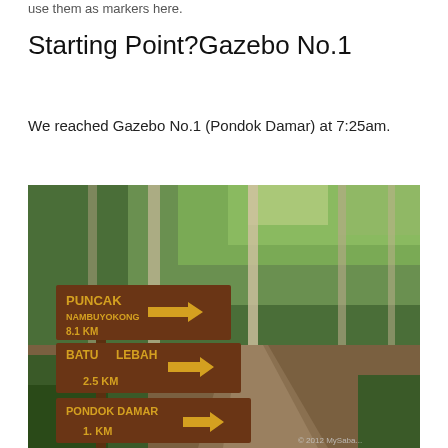use them as markers here.
Starting Point?Gazebo No.1
We reached Gazebo No.1 (Pondok Damar) at 7:25am.
[Figure (photo): Jungle trail with brown wooden directional signs showing: PUNCAK NAMBUYOKONG 8.1 KM (with arrow), BATU LEBAH 2.5 KM (with arrow), PONDOK DAMAR 1. KM (with arrow). Forest path with tall trees visible in background.]